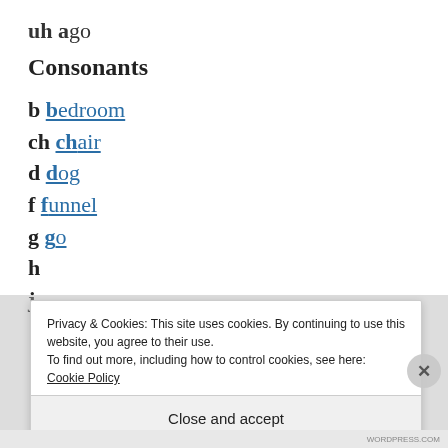uh ago
Consonants
b bedroom
ch chair
d dog
f funnel
g go
h [partially visible]
j [partially visible]
Privacy & Cookies: This site uses cookies. By continuing to use this website, you agree to their use. To find out more, including how to control cookies, see here: Cookie Policy
Close and accept